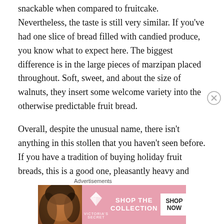snackable when compared to fruitcake. Nevertheless, the taste is still very similar. If you've had one slice of bread filled with candied produce, you know what to expect here. The biggest difference is in the large pieces of marzipan placed throughout. Soft, sweet, and about the size of walnuts, they insert some welcome variety into the otherwise predictable fruit bread.
Overall, despite the unusual name, there isn't anything in this stollen that you haven't seen before. If you have a tradition of buying holiday fruit breads, this is a good one, pleasantly heavy and soft, with plenty of candied sweetness. However, if you can get along well enough
Advertisements
[Figure (other): Victoria's Secret advertisement banner with model photo on left, VS logo and 'SHOP THE COLLECTION' text in center on pink background, and white 'SHOP NOW' button on right]